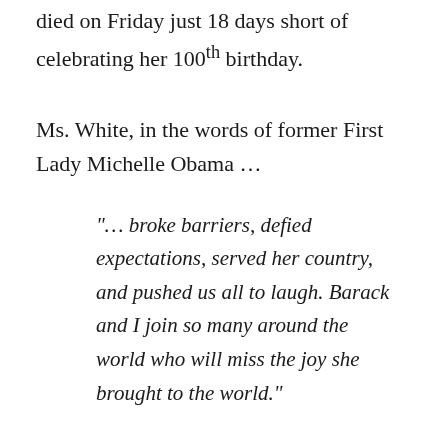died on Friday just 18 days short of celebrating her 100th birthday.
Ms. White, in the words of former First Lady Michelle Obama …
“… broke barriers, defied expectations, served her country, and pushed us all to laugh. Barack and I join so many around the world who will miss the joy she brought to the world.”
She had a long career, playing in so many different television shows that I cannot count them all, but